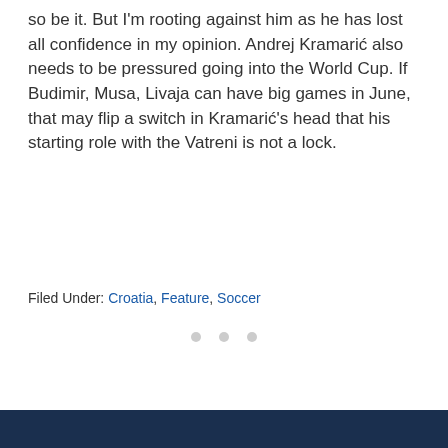so be it. But I'm rooting against him as he has lost all confidence in my opinion. Andrej Kramarić also needs to be pressured going into the World Cup. If Budimir, Musa, Livaja can have big games in June, that may flip a switch in Kramarić's head that his starting role with the Vatreni is not a lock.
Filed Under: Croatia, Feature, Soccer